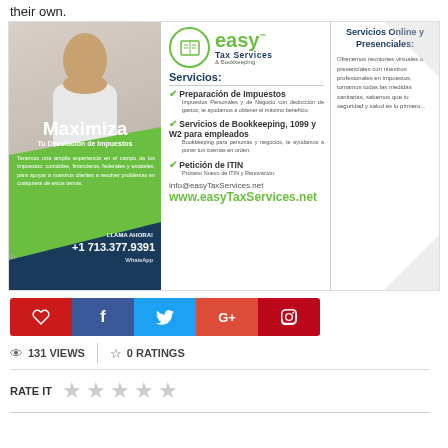their own.
[Figure (infographic): Easy Tax Services & Bookkeeping advertisement. Features a woman photo on the left, green and dark blue panels with 'Maximiza Tu Devolución de Impuestos', phone number +1 713.377.9391, WhatsApp. Center shows logo and services: Preparación de Impuestos, Servicios de Bookkeeping 1099 y W2 para empleados, Petición de ITIN. Right column: Servicios Online y Presenciales description. Contact: info@easyTaxServices.net, www.easyTaxServices.net]
[Figure (infographic): Social sharing buttons: heart/like, Facebook, Twitter, Google+, Pinterest]
131 VIEWS   0 RATINGS
RATE IT ☆ ☆ ☆ ☆ ☆